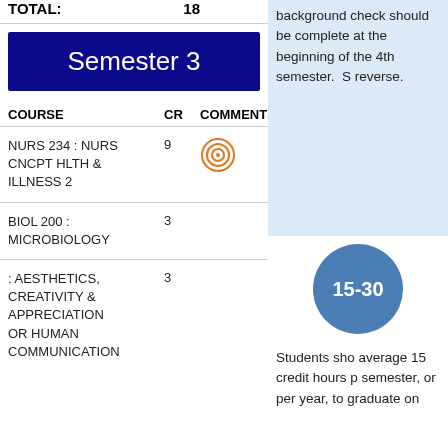| COURSE | CR | COMMENTS |
| --- | --- | --- |
| TOTAL: | 18 |  |
| NURS 234 : NURS CNCPT HLTH & ILLNESS 2 | 9 | [target icon] |
| BIOL 200 : MICROBIOLOGY | 3 |  |
| : AESTHETICS, CREATIVITY & APPRECIATION OR HUMAN COMMUNICATION | 3 |  |
Semester 3
background check should be complete at the beginning of the 4th semester.  S reverse.
[Figure (infographic): Blue circle badge with handwritten style text '15-30']
Students sho average 15 credit hours p semester, or per year, to graduate on